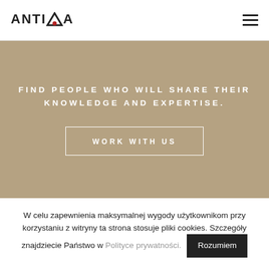ANTIQA
FIND PEOPLE WHO WILL SHARE THEIR KNOWLEDGE AND EXPERTISE.
WORK WITH US
W celu zapewnienia maksymalnej wygody użytkownikom przy korzystaniu z witryny ta strona stosuje pliki cookies. Szczegóły znajdziecie Państwo w Polityce prywatności. Rozumiem